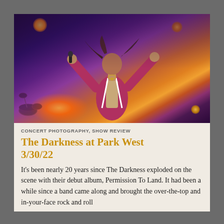[Figure (photo): Concert photo of a performer with arms raised wide, long hair flying, wearing a red/pink jacket with white suspenders, on a dark stage with dramatic orange and purple stage lighting, with drum kit visible in left background.]
CONCERT PHOTOGRAPHY, SHOW REVIEW
The Darkness at Park West 3/30/22
It's been nearly 20 years since The Darkness exploded on the scene with their debut album, Permission To Land. It had been a while since a band came along and brought the over-the-top and in-your-face rock and roll